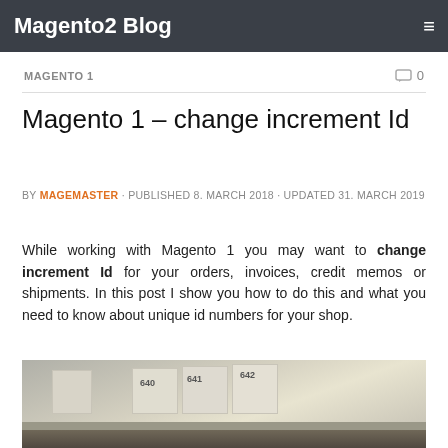Magento2 Blog
MAGENTO 1
Magento 1 – change increment Id
BY MAGEMASTER · PUBLISHED 8. MARCH 2018 · UPDATED 31. MARCH 2019
While working with Magento 1 you may want to change increment Id for your orders, invoices, credit memos or shipments. In this post I show you how to do this and what you need to know about unique id numbers for your shop.
[Figure (photo): Shelving units with numbered boxes labeled 640, 641, 642]